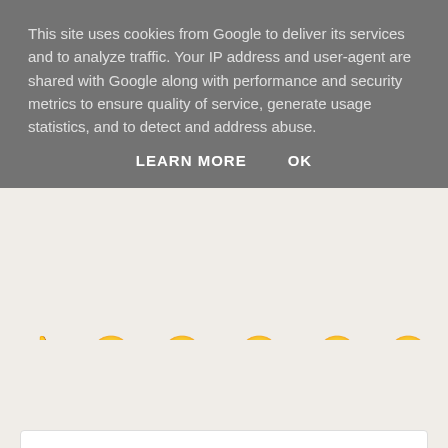This site uses cookies from Google to deliver its services and to analyze traffic. Your IP address and user-agent are shared with Google along with performance and security metrics to ensure quality of service, generate usage statistics, and to detect and address abuse.
LEARN MORE   OK
[Figure (infographic): Six emoji reaction buttons: Upvote (thumbs up), Funny (tongue out), Love (laughing), Surprised (surprised face), Angry (sad with tear), Sad (sad crying face)]
Comments   Community   🔒   1   Login
♡ Favorite   Sort by Best ▾
Join the discussion...
LOG IN WITH
[Figure (infographic): Social login icons: Disqus (blue), Facebook (dark blue), Twitter (light blue), Google (red)]